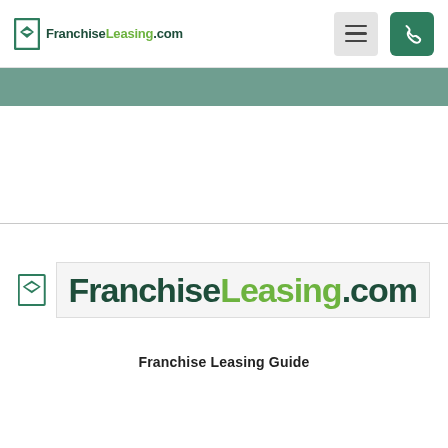FranchiseLeasing.com
[Figure (logo): FranchiseLEasing.com logo with icon — small header version]
[Figure (logo): FranchiseLeasing.com large logo with green/dark-green text and square bracket icon]
Franchise Leasing Guide